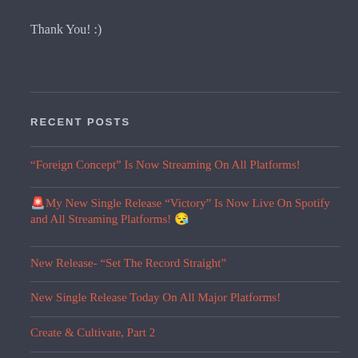Thank You! :)
RECENT POSTS
“Foreign Concept” Is Now Streaming On All Platforms!
🚨My New Single Release “Victory” Is Now Live On Spotify and All Streaming Platforms! 😊
New Release- “Set The Record Straight”
New Single Release Today On All Major Platforms!
Create & Cultivate, Part 2